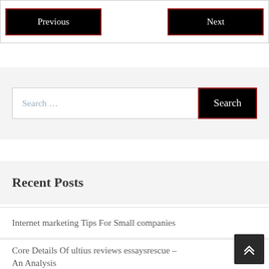Previous
Next
Search …
Search
Recent Posts
Internet marketing Tips For Small companies
Core Details Of ultius reviews essaysrescue – An Analysis